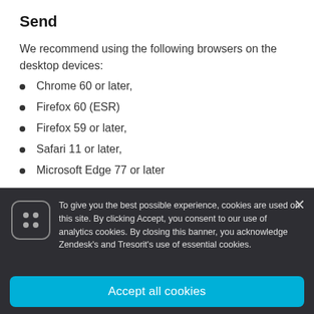Send
We recommend using the following browsers on the desktop devices:
Chrome 60 or later,
Firefox 60 (ESR)
Firefox 59 or later,
Safari 11 or later,
Microsoft Edge 77 or later
To give you the best possible experience, cookies are used on this site. By clicking Accept, you consent to our use of analytics cookies. By closing this banner, you acknowledge Zendesk's and Tresorit's use of essential cookies.
Accept all cookies